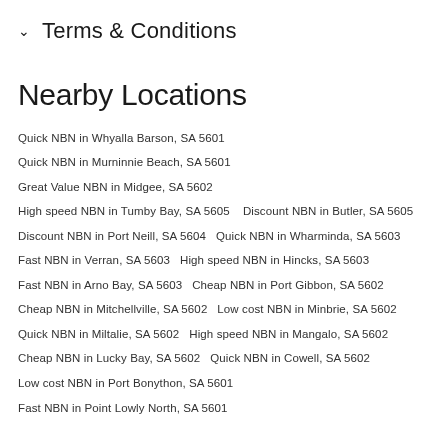Terms & Conditions
Nearby Locations
Quick NBN in Whyalla Barson, SA 5601
Quick NBN in Murninnie Beach, SA 5601
Great Value NBN in Midgee, SA 5602
High speed NBN in Tumby Bay, SA 5605    Discount NBN in Butler, SA 5605
Discount NBN in Port Neill, SA 5604    Quick NBN in Wharminda, SA 5603
Fast NBN in Verran, SA 5603    High speed NBN in Hincks, SA 5603
Fast NBN in Arno Bay, SA 5603    Cheap NBN in Port Gibbon, SA 5602
Cheap NBN in Mitchellville, SA 5602    Low cost NBN in Minbrie, SA 5602
Quick NBN in Miltalie, SA 5602    High speed NBN in Mangalo, SA 5602
Cheap NBN in Lucky Bay, SA 5602    Quick NBN in Cowell, SA 5602
Low cost NBN in Port Bonython, SA 5601
Fast NBN in Point Lowly North, SA 5601